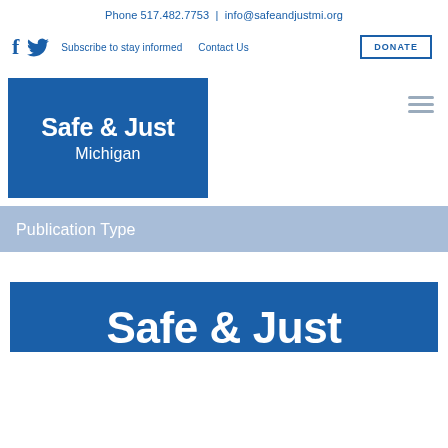Phone 517.482.7753  |  info@safeandjustmi.org
Subscribe to stay informed   Contact Us   DONATE
[Figure (logo): Safe & Just Michigan logo — white bold text on blue background square]
Publication Type
[Figure (logo): Safe & Just Michigan logo — partial view at bottom of page, white bold text on blue background]